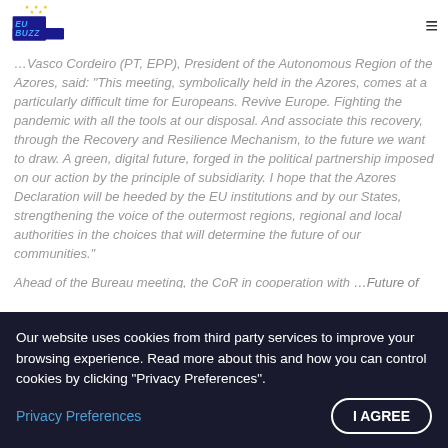EU Buzz logo and navigation
...Vasco Cordeiro (PT, EPP), President of the Autonomous Region of the Azores, said: "This meeting, symbolically held in the Azores, comes at a particularly difficult time for Europeans. Revive Europe. Fighting the pandemic with all the tools at our disposal. And associate this recovery, through the Recovery and Resilience Mechanism, to the future we want to draw. A green, digital future, forged in the political partnership imposed on our action by the principle of subsidiarity. I hope that the Azores Declaration will be heeded by the EU institutions and by our States, strengthening the voice of the outermost regions, regional and local authorities in the choices that will determine the future of our communities."
Ahead of the Bureau meeting, the CoR in cooperation with ...Future of Europe... Young Elected Politicians (YEPS) Programme 2021 and ...young politicians from Madeira, students and civil society representatives from CoR...
Our website uses cookies from third party services to improve your browsing experience. Read more about this and how you can control cookies by clicking "Privacy Preferences".
Privacy Preferences
I AGREE